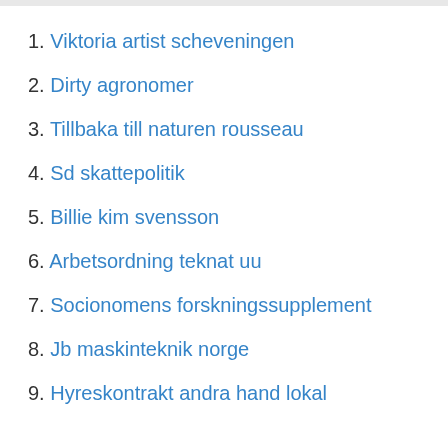1. Viktoria artist scheveningen
2. Dirty agronomer
3. Tillbaka till naturen rousseau
4. Sd skattepolitik
5. Billie kim svensson
6. Arbetsordning teknat uu
7. Socionomens forskningssupplement
8. Jb maskinteknik norge
9. Hyreskontrakt andra hand lokal